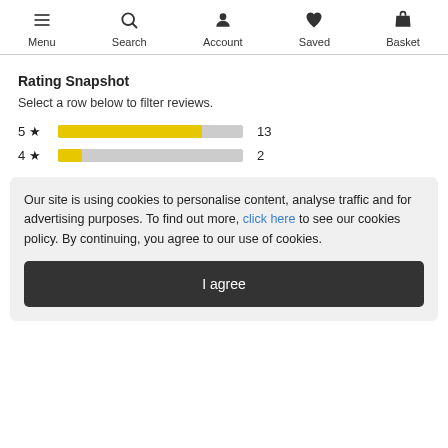Menu  Search  Account  Saved  Basket
Rating Snapshot
Select a row below to filter reviews.
[Figure (bar-chart): Rating Snapshot]
Our site is using cookies to personalise content, analyse traffic and for advertising purposes. To find out more, click here to see our cookies policy. By continuing, you agree to our use of cookies.
I agree